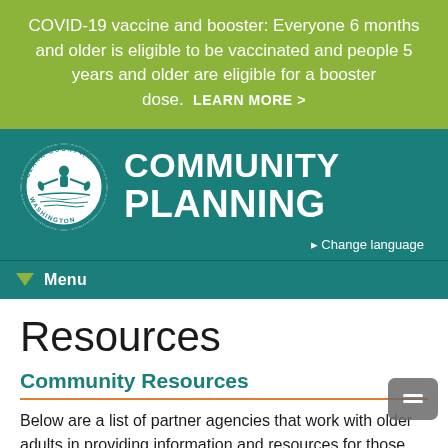COVID-19 vaccine and booster: Everyone 6 months and older is eligible to be vaccinated and people 5 years and older are eligible for a booster dose.  LEARN MORE >
[Figure (logo): Clark County Washington seal/logo — circular seal with figure in canoe, surrounded by text CLARK COUNTY, WASHINGTON]
COMMUNITY PLANNING
⊕ Change language
Menu
Resources
Community Resources
Below are a list of partner agencies that work with older adults in providing information and resources for those